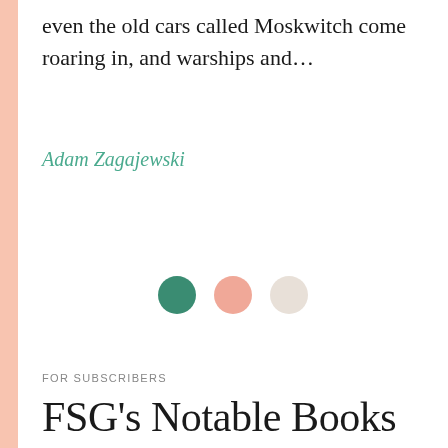even the old cars called Moskwitch come roaring in, and warships and…
Adam Zagajewski
[Figure (illustration): Three decorative circles: dark teal/green, soft peach, and cream/off-white, arranged horizontally as a section divider.]
FOR SUBSCRIBERS
FSG's Notable Books